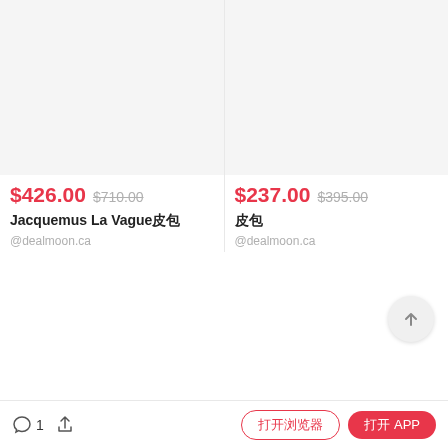$426.00  $710.00
Jacquemus  La Vague皮包
@dealmoon.ca
$237.00  $395.00
皮包
@dealmoon.ca
1  [share]  [打开浏览器]  [打开 APP]